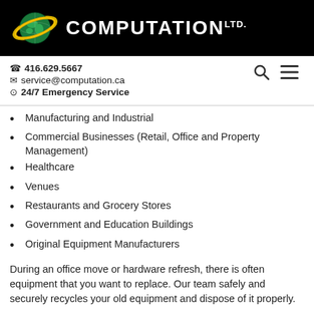[Figure (logo): Computation Ltd. logo with globe and company name on black header bar]
☎ 416.629.5667
✉ service@computation.ca
⊙ 24/7 Emergency Service
Manufacturing and Industrial
Commercial Businesses (Retail, Office and Property Management)
Healthcare
Venues
Restaurants and Grocery Stores
Government and Education Buildings
Original Equipment Manufacturers
During an office move or hardware refresh, there is often equipment that you want to replace. Our team safely and securely recycles your old equipment and dispose of it properly.